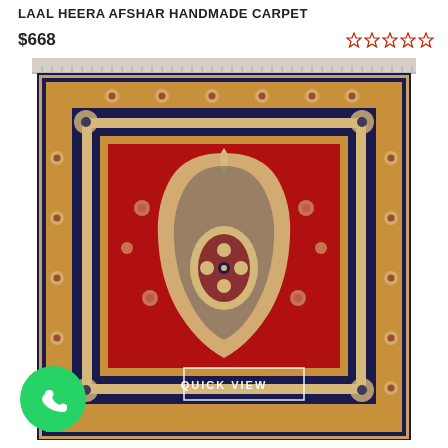LAAL HEERA AFSHAR HANDMADE CARPET
$668
[Figure (illustration): Red and navy blue Persian/Afshar style handmade carpet with intricate floral medallion design. The carpet features a large red field with a cream/beige medallion in the center, surrounded by elaborate floral motifs. Navy blue border with floral patterns frames the carpet. A WhatsApp icon (green circle with phone handset) appears in the lower left, and a 'QUICK VIEW' button overlay appears in the center-bottom of the carpet image.]